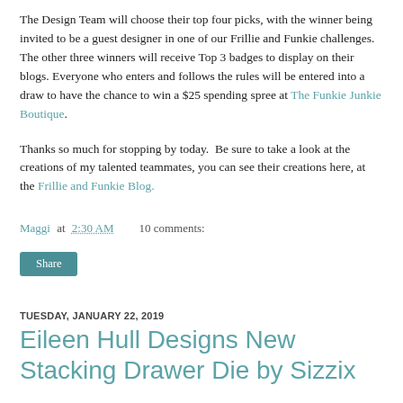The Design Team will choose their top four picks, with the winner being invited to be a guest designer in one of our Frillie and Funkie challenges. The other three winners will receive Top 3 badges to display on their blogs. Everyone who enters and follows the rules will be entered into a draw to have the chance to win a $25 spending spree at The Funkie Junkie Boutique.
Thanks so much for stopping by today.  Be sure to take a look at the creations of my talented teammates, you can see their creations here, at the Frillie and Funkie Blog.
Maggi at 2:30 AM    10 comments:
Share
TUESDAY, JANUARY 22, 2019
Eileen Hull Designs New Stacking Drawer Die by Sizzix